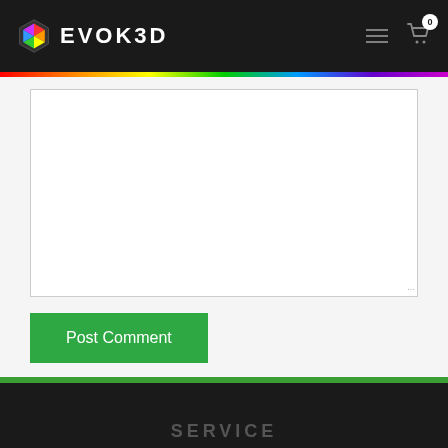EVOK3D
[Figure (screenshot): White empty comment textarea box with resize handle in bottom-right corner]
Post Comment
Comments have to be approved before showing up
SERVICE